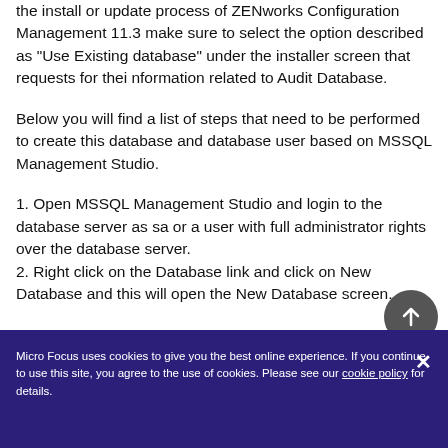the install or update process of ZENworks Configuration Management 11.3 make sure to select the option described as "Use Existing database" under the installer screen that requests for thei nformation related to Audit Database.
Below you will find a list of steps that need to be performed to create this database and database user based on MSSQL Management Studio.
1. Open MSSQL Management Studio and login to the database server as sa or a user with full administrator rights over the database server.
2. Right click on the Database link and click on New Database and this will open the New Database screen.
Micro Focus uses cookies to give you the best online experience. If you continue to use this site, you agree to the use of cookies. Please see our cookie policy for details.